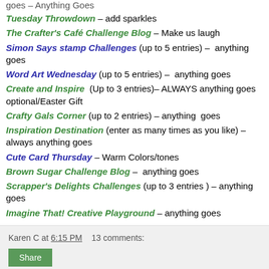Tuesday Throwdown – add sparkles
The Crafter's Café Challenge Blog – Make us laugh
Simon Says stamp Challenges (up to 5 entries) – anything goes
Word Art Wednesday (up to 5 entries) – anything goes
Create and Inspire (Up to 3 entries)– ALWAYS anything goes optional/Easter Gift
Crafty Gals Corner (up to 2 entries) – anything goes
Inspiration Destination (enter as many times as you like) – always anything goes
Cute Card Thursday – Warm Colors/tones
Brown Sugar Challenge Blog – anything goes
Scrapper's Delights Challenges (up to 3 entries ) – anything goes
Imagine That! Creative Playground – anything goes
Karen C at 6:15 PM   13 comments:
Share